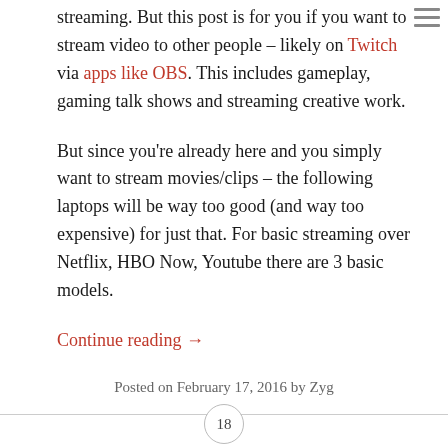streaming. But this post is for you if you want to stream video to other people – likely on Twitch via apps like OBS. This includes gameplay, gaming talk shows and streaming creative work.
But since you're already here and you simply want to stream movies/clips – the following laptops will be way too good (and way too expensive) for just that. For basic streaming over Netflix, HBO Now, Youtube there are 3 basic models.
Continue reading →
Posted on February 17, 2016 by Zyg
18